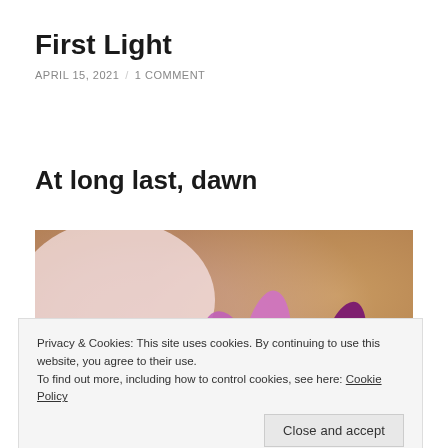First Light
APRIL 15, 2021 / 1 COMMENT
At long last, dawn
[Figure (photo): Close-up photograph of purple/pink crocus flowers with soft blurred background in warm peach and brown tones]
Privacy & Cookies: This site uses cookies. By continuing to use this website, you agree to their use.
To find out more, including how to control cookies, see here: Cookie Policy
Close and accept